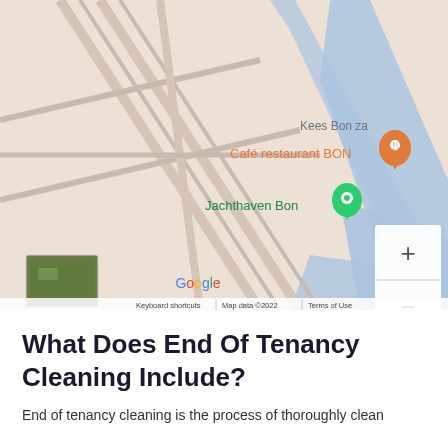[Figure (map): Google Maps view showing roads, waterways, and markers for 'Café restaurant BON' (orange pin) and 'Jachthaven Bon' (green pin). Also shows 'Kees Bon za' label, Google logo, zoom controls (+/-), satellite thumbnail, and footer text 'Keyboard shortcuts | Map data ©2022 | Terms of Use'.]
What Does End Of Tenancy Cleaning Include?
End of tenancy cleaning is the process of thoroughly clean